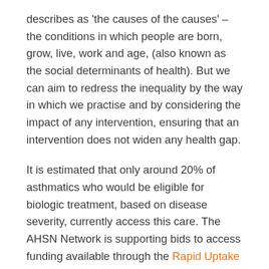describes as 'the causes of the causes' – the conditions in which people are born, grow, live, work and age, (also known as the social determinants of health). But we can aim to redress the inequality by the way in which we practise and by considering the impact of any intervention, ensuring that an intervention does not widen any health gap.
It is estimated that only around 20% of asthmatics who would be eligible for biologic treatment, based on disease severity, currently access this care. The AHSN Network is supporting bids to access funding available through the Rapid Uptake Programme (RUP) around improving access to biologics for asthma patients. It will be important that any intervention is carried out in such a way as to give equity of access, regardless of social